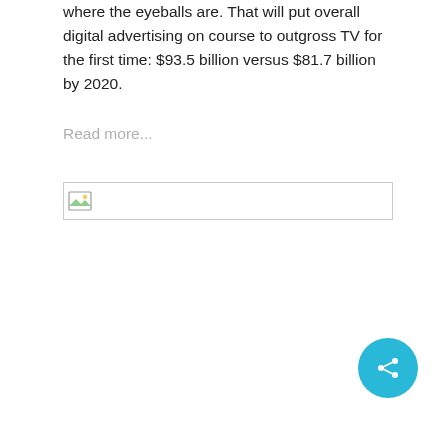where the eyeballs are. That will put overall digital advertising on course to outgross TV for the first time: $93.5 billion versus $81.7 billion by 2020.
Read more...
[Figure (other): Broken image placeholder icon with a small landscape thumbnail icon at left inside a rectangular border box]